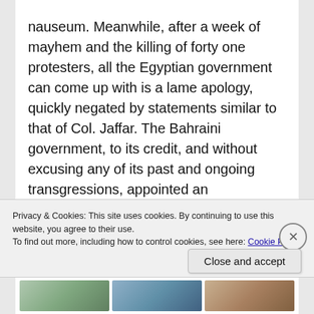nauseum. Meanwhile, after a week of mayhem and the killing of forty one protesters, all the Egyptian government can come up with is a lame apology, quickly negated by statements similar to that of Col. Jaffar. The Bahraini government, to its credit, and without excusing any of its past and ongoing transgressions, appointed an independent commission and actually allowed it to publicly present damning evidence of abuse and torture by government forces. This is the first step towards transparency and accountability.
We will not see such transparency any time soon in
Privacy & Cookies: This site uses cookies. By continuing to use this website, you agree to their use.
To find out more, including how to control cookies, see here: Cookie Policy
Close and accept